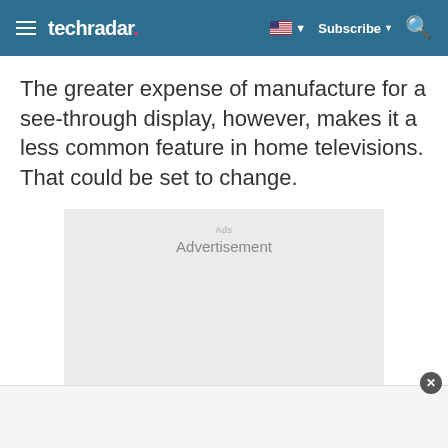techradar
The greater expense of manufacture for a see-through display, however, makes it a less common feature in home televisions. That could be set to change.
[Figure (other): Advertisement placeholder box with light gray background and 'Advertisement' label text]
[Figure (other): Bottom bar/banner advertisement area with close button]